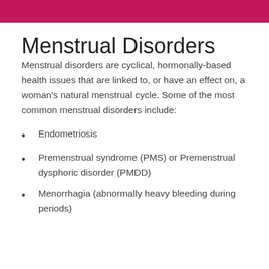Menstrual Disorders
Menstrual disorders are cyclical, hormonally-based health issues that are linked to, or have an effect on, a woman’s natural menstrual cycle. Some of the most common menstrual disorders include:
Endometriosis
Premenstrual syndrome (PMS) or Premenstrual dysphoric disorder (PMDD)
Menorrhagia (abnormally heavy bleeding during periods)